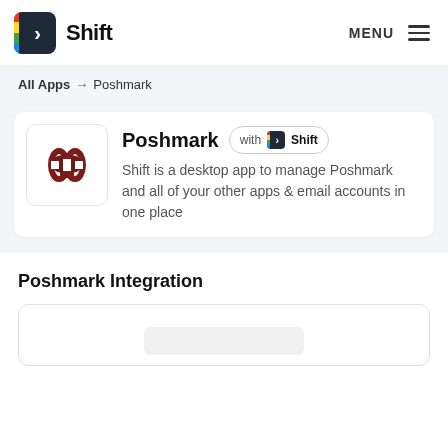Shift — MENU
All Apps → Poshmark
[Figure (logo): Poshmark app logo — dark red chain-link P icon on white rounded square background]
Poshmark with Shift
Shift is a desktop app to manage Poshmark and all of your other apps & email accounts in one place
Poshmark Integration